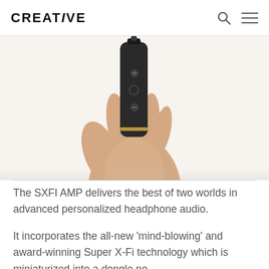CREATIVE
[Figure (photo): A hand holding a small black audio dongle device (SXFI AMP) with volume buttons visible on the device face, against a white background.]
The SXFI AMP delivers the best of two worlds in advanced personalized headphone audio.
It incorporates the all-new 'mind-blowing' and award-winning Super X-Fi technology which is miniaturized into a dongle no